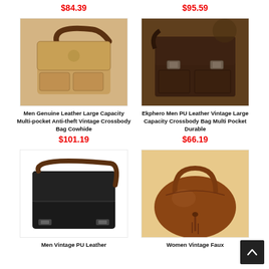$84.39
$95.59
[Figure (photo): Men Genuine Leather Large Capacity Multi-pocket Anti-theft Vintage Crossbody Bag Cowhide - tan/brown leather messenger bag with shoulder strap]
[Figure (photo): Ekphero Men PU Leather Vintage Large Capacity Crossbody Bag Multi Pocket Durable - dark brown leather satchel bag with buckle closures]
Men Genuine Leather Large Capacity Multi-pocket Anti-theft Vintage Crossbody Bag Cowhide
$101.19
Ekphero Men PU Leather Vintage Large Capacity Crossbody Bag Multi Pocket Durable
$66.19
[Figure (photo): Men Vintage PU Leather - black messenger bag with brown strap and buckle]
[Figure (photo): Women Vintage Faux - brown hobo bag with tassel detail on tan background]
Men Vintage PU Leather
Women Vintage Faux